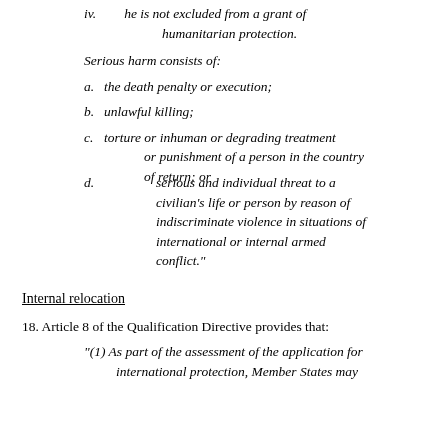iv. he is not excluded from a grant of humanitarian protection.
Serious harm consists of:
a. the death penalty or execution;
b. unlawful killing;
c. torture or inhuman or degrading treatment or punishment of a person in the country of return; or
d. serious and individual threat to a civilian’s life or person by reason of indiscriminate violence in situations of international or internal armed conflict.”
Internal relocation
18. Article 8 of the Qualification Directive provides that:
“(1) As part of the assessment of the application for international protection, Member States may